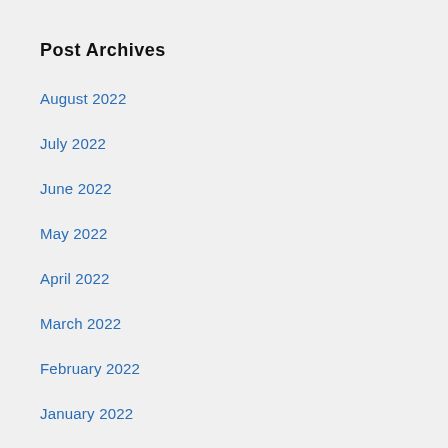Post Archives
August 2022
July 2022
June 2022
May 2022
April 2022
March 2022
February 2022
January 2022
December 2021